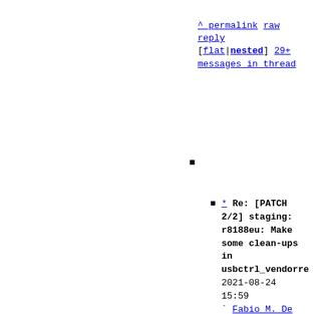^ permalink raw reply [flat|nested] 29+ messages in thread
* Re: [PATCH 2/2] staging: r8188eu: Make some clean-ups in usbctrl_vendorreq  2021-08-24 15:59 ` Fabio M. De Francesco @ 2021-08-24 16:04 ` Pavel Skripkin  2021-08-24 16:18 ` Greg Kroah-Hartman 0 siblings, 1 reply; 29+ messages in